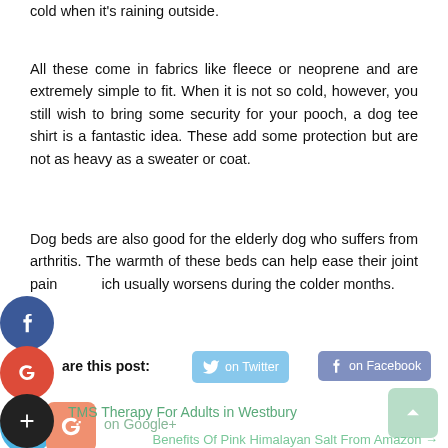cold when it's raining outside.
All these come in fabrics like fleece or neoprene and are extremely simple to fit. When it is not so cold, however, you still wish to bring some security for your pooch, a dog tee shirt is a fantastic idea. These add some protection but are not as heavy as a sweater or coat.
Dog beds are also good for the elderly dog who suffers from arthritis. The warmth of these beds can help ease their joint pain ich usually worsens during the colder months.
[Figure (infographic): Social media sharing buttons: Facebook circle icon, Google+ circle icon with 'are this post:' text, Twitter button 'on Twitter', Facebook button 'on Facebook', Twitter circle icon, Google+ square button 'on Google+', Add/plus circle icon]
TMS Therapy For Adults in Westbury
Benefits Of Pink Himalayan Salt From Amazon →